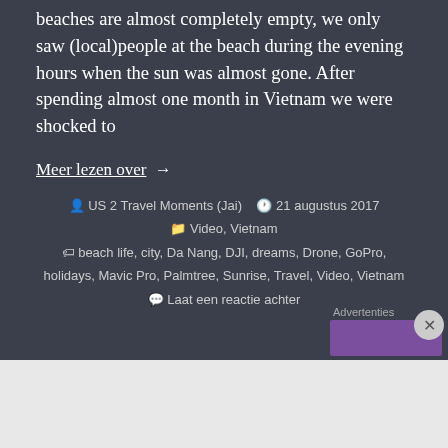beaches are almost completely empty, we only saw (local)people at the beach during the evening hours when the sun was almost gone. After spending almost one month in Vietnam we were shocked to
Meer lezen over  →
US 2 Travel Moments (Jai)   21 augustus 2017   Video, Vietnam   beach life, city, Da Nang, DJI, dreams, Drone, GoPro, holidays, Mavic Pro, Palmtree, Sunrise, Travel, Video, Vietnam   Laat een reactie achter
[Figure (screenshot): Advertisement banner with purple background]
[Figure (screenshot): Bottom advertisement: Launch your online course with WordPress - Learn More button]